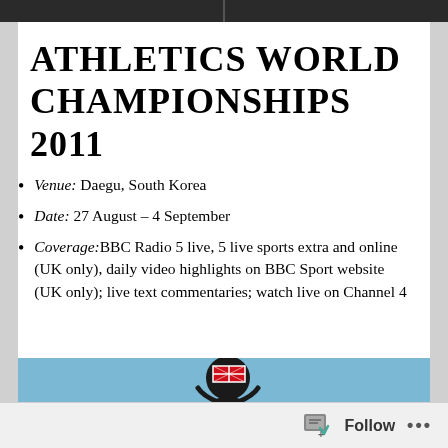ATHLETICS WORLD CHAMPIONSHIPS 2011
Venue: Daegu, South Korea
Date: 27 August – 4 September
Coverage: BBC Radio 5 live, 5 live sports extra and online (UK only), daily video highlights on BBC Sport website (UK only); live text commentaries; watch live on Channel 4
[Figure (photo): Photo of athlete wearing a Great Britain (Union Jack) cap/hat, partially visible at bottom of card]
Follow ...